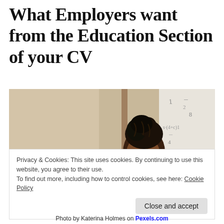What Employers want from the Education Section of your CV
[Figure (photo): A Black woman with braided hair updo sits in front of a whiteboard covered in mathematical equations, working at a laptop in a professional/academic setting.]
Privacy & Cookies: This site uses cookies. By continuing to use this website, you agree to their use.
To find out more, including how to control cookies, see here: Cookie Policy
Photo by Katerina Holmes on Pexels.com